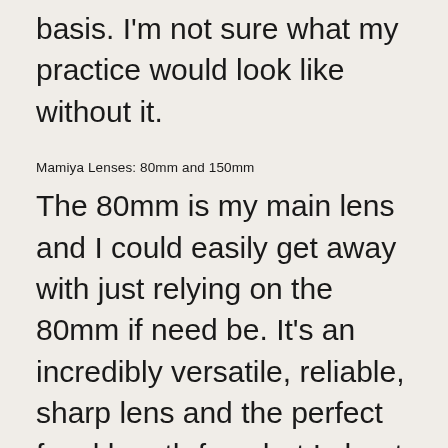basis. I'm not sure what my practice would look like without it.
Mamiya Lenses: 80mm and 150mm
The 80mm is my main lens and I could easily get away with just relying on the 80mm if need be. It's an incredibly versatile, reliable, sharp lens and the perfect focal length for what I shoot.
This leads me to the next lens, a Mamiya 150mm f/4. I don't own this lens, it's borrowed, but it has been an important lens for my work over the past few years and it's certainly a piece of equipment I